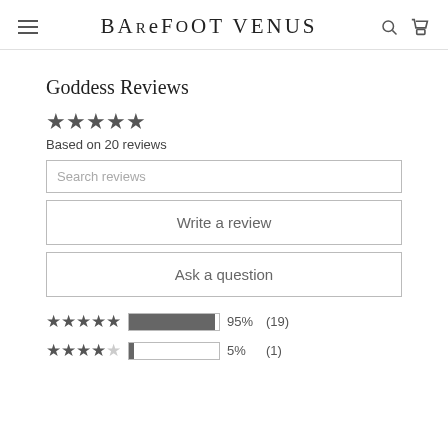BAREFOOT VENUS
Goddess Reviews
★★★★★ Based on 20 reviews
Search reviews
Write a review
Ask a question
★★★★★ 95% (19)
★★★★☆ 5% (1)